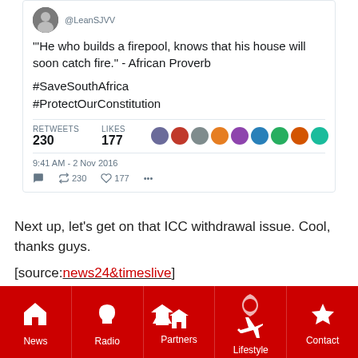[Figure (screenshot): Tweet from @LeanSJVV quoting African Proverb with hashtags #SaveSouthAfrica #ProtectOurConstitution, showing 230 retweets and 177 likes, posted 9:41 AM - 2 Nov 2016]
Next up, let's get on that ICC withdrawal issue. Cool, thanks guys.
[source:news24&timeslive]